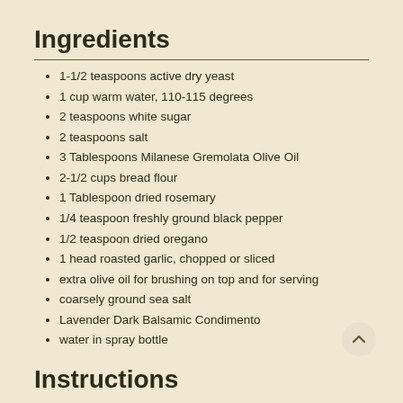Ingredients
1-1/2 teaspoons active dry yeast
1 cup warm water, 110-115 degrees
2 teaspoons white sugar
2 teaspoons salt
3 Tablespoons Milanese Gremolata Olive Oil
2-1/2 cups bread flour
1 Tablespoon dried rosemary
1/4 teaspoon freshly ground black pepper
1/2 teaspoon dried oregano
1 head roasted garlic, chopped or sliced
extra olive oil for brushing on top and for serving
coarsely ground sea salt
Lavender Dark Balsamic Condimento
water in spray bottle
Instructions